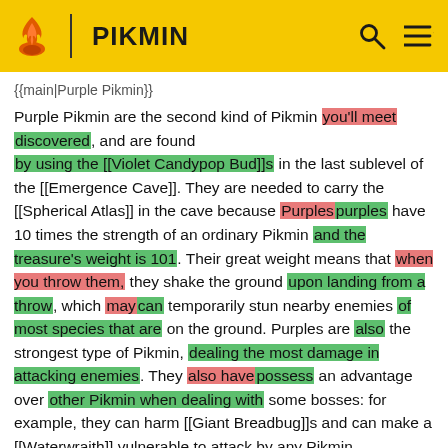PIKMIN
{{main|Purple Pikmin}}
Purple Pikmin are the second kind of Pikmin you'll meet discovered, and are found by using the [[Violet Candypop Bud]]s in the last sublevel of the [[Emergence Cave]]. They are needed to carry the [[Spherical Atlas]] in the cave because Purplespurples have 10 times the strength of an ordinary Pikmin and the treasure's weight is 101. Their great weight means that when you throw them, they shake the ground upon landing from a throw, which maycan temporarily stun nearby enemies of most species that are on the ground. Purples are also the strongest type of Pikmin, dealing the most damage in attacking enemies. They also havepossess an advantage over other Pikmin when dealing with some bosses: for example, they can harm [[Giant Breadbug]]s and can make a [[Waterwraith]] vulnerable to attack by any Pikmin.